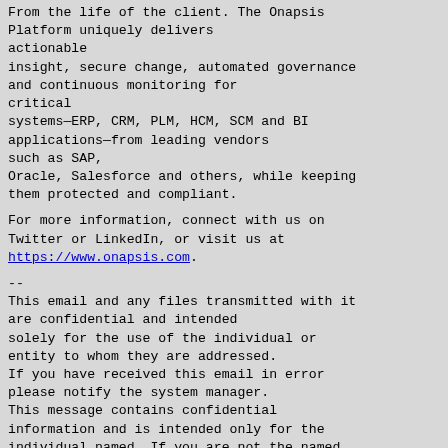From the life of the client. The Onapsis Platform uniquely delivers actionable insight, secure change, automated governance and continuous monitoring for critical systems—ERP, CRM, PLM, HCM, SCM and BI applications—from leading vendors such as SAP, Oracle, Salesforce and others, while keeping them protected and compliant.
For more information, connect with us on Twitter or LinkedIn, or visit us at https://www.onapsis.com.
--
This email and any files transmitted with it are confidential and intended solely for the use of the individual or entity to whom they are addressed. If you have received this email in error please notify the system manager. This message contains confidential information and is intended only for the individual named. If you are not the named